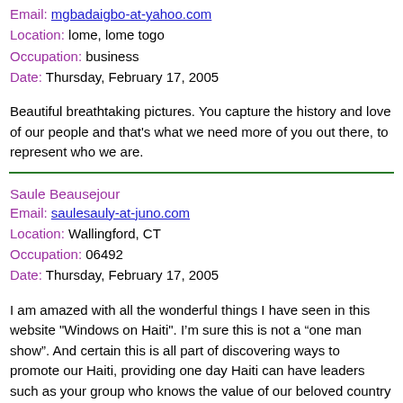Email: mgbadaigbo-at-yahoo.com
Location: lome, lome togo
Occupation: business
Date: Thursday, February 17, 2005
Beautiful breathtaking pictures. You capture the history and love of our people and that's what we need more of you out there, to represent who we are.
Saule Beausejour
Email: saulesauly-at-juno.com
Location: Wallingford, CT
Occupation: 06492
Date: Thursday, February 17, 2005
I am amazed with all the wonderful things I have seen in this website "Windows on Haiti". I’m sure this is not a “one man show”. And certain this is all part of discovering ways to promote our Haiti, providing one day Haiti can have leaders such as your group who knows the value of our beloved country and are as dedicated to finish a job well started. As the